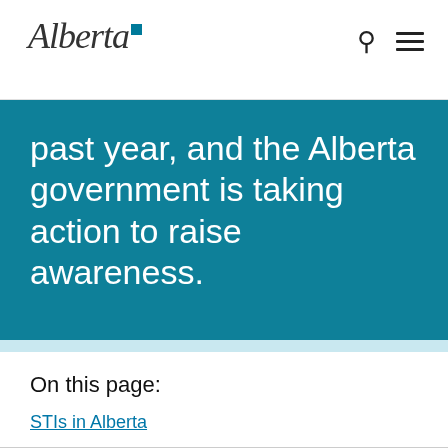Alberta [logo]
past year, and the Alberta government is taking action to raise awareness.
On this page:
STIs in Alberta